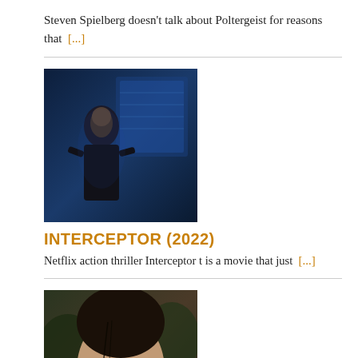Steven Spielberg doesn't talk about Poltergeist for reasons that  [...]
[Figure (photo): Still from Interceptor (2022) showing a woman in dark clothing in a blue-lit control room]
INTERCEPTOR (2022)
Netflix action thriller Interceptor t is a movie that just  [...]
[Figure (photo): Close-up portrait of a young woman with dark hair partially across her face, from A Chiara (2022)]
A CHIARA (2022)
A Chiara from filmmaker Jonas Carpignano is an  [...]
[Figure (photo): Scene from a film showing people inside a vehicle]